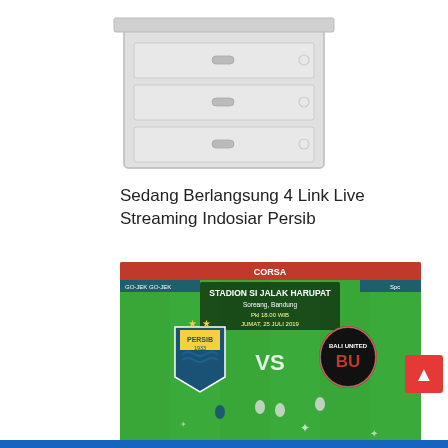[Figure (illustration): Partial image of a dresser/cabinet product at the top of the page, cropped, white background]
Sedang Berlangsung 4 Link Live Streaming Indosiar Persib
[Figure (photo): Football match broadcast screenshot showing Persib 1933 vs Bali United at Stadion Si Jalak Harupat, Soreang, Bandung. Match date and time shown. Both club logos visible on green pitch with players.]
Link Live Streaming Persib Bandung Vs Bali United Di Stadion Si Jalak Harupat